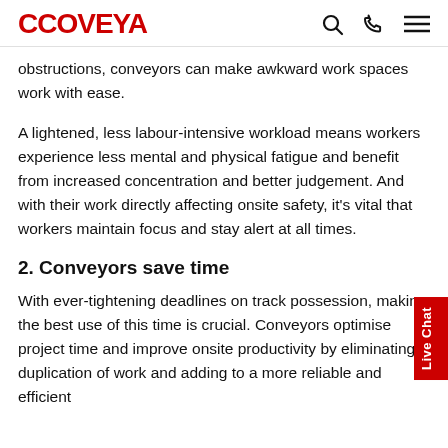COVEYA
obstructions, conveyors can make awkward work spaces work with ease.
A lightened, less labour-intensive workload means workers experience less mental and physical fatigue and benefit from increased concentration and better judgement. And with their work directly affecting onsite safety, it's vital that workers maintain focus and stay alert at all times.
2. Conveyors save time
With ever-tightening deadlines on track possession, making the best use of this time is crucial. Conveyors optimise project time and improve onsite productivity by eliminating duplication of work and adding to a more reliable and efficient